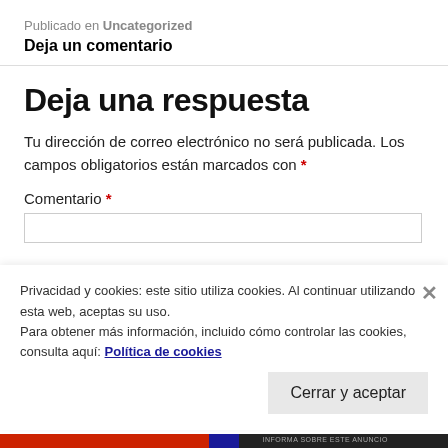Publicado en Uncategorized
Deja un comentario
Deja una respuesta
Tu dirección de correo electrónico no será publicada. Los campos obligatorios están marcados con *
Comentario *
Privacidad y cookies: este sitio utiliza cookies. Al continuar utilizando esta web, aceptas su uso.
Para obtener más información, incluido cómo controlar las cookies, consulta aquí: Política de cookies
Cerrar y aceptar